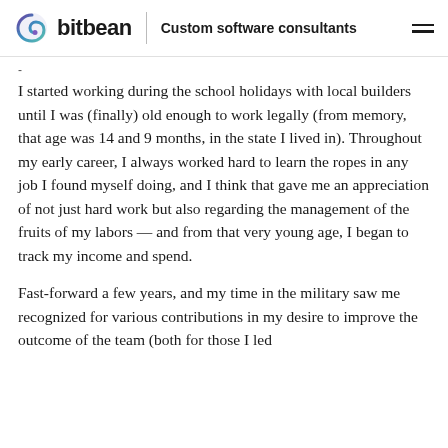bitbean | Custom software consultants
I started working during the school holidays with local builders until I was (finally) old enough to work legally (from memory, that age was 14 and 9 months, in the state I lived in). Throughout my early career, I always worked hard to learn the ropes in any job I found myself doing, and I think that gave me an appreciation of not just hard work but also regarding the management of the fruits of my labors — and from that very young age, I began to track my income and spend.
Fast-forward a few years, and my time in the military saw me recognized for various contributions in my desire to improve the outcome of the team (both for those I led